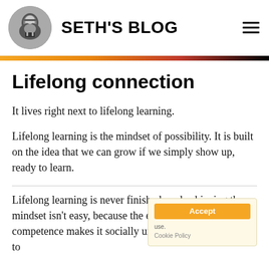SETH'S BLOG
Lifelong connection
It lives right next to lifelong learning.
Lifelong learning is the mindset of possibility. It is built on the idea that we can grow if we simply show up, ready to learn.
Lifelong learning is never finished, and achieving the mindset isn't easy, because the existing bias toward competence makes it socially unattractive. It requires us to